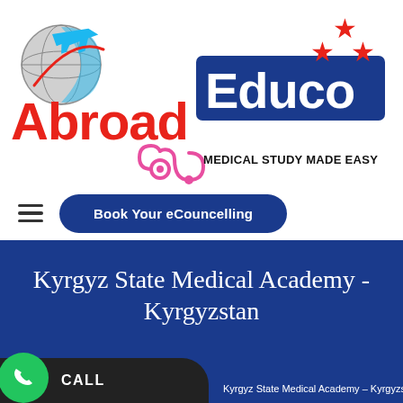[Figure (logo): Abroad Educo logo with globe and airplane graphic, blue Educo box, red stars, stethoscope, and tagline MEDICAL STUDY MADE EASY]
Book Your eCouncelling
Kyrgyz State Medical Academy - Kyrgyzstan
Kyrgyz State Medical Academy – Kyrgyzstan